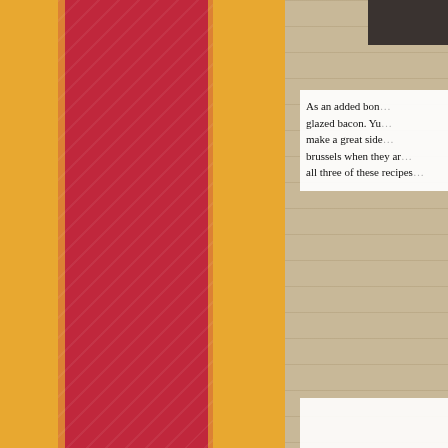[Figure (illustration): Decorative background with orange and red vertical stripes, textured pattern, tree silhouettes at bottom]
As an added bon... glazed bacon. Yu... make a great side... brussels when they ar... all three of these recipes
Added Oct 4, 20...
Home | Easy Recipes | Appetizers, Dips & Snacks | Easy Asian | Beve... Gluten-Free | Fish and Other sea creatures | Easy Italian | Easy Kids Fa... Easy Salads | Easy Soups & Sandwiches | Easy Treats | Easy Vegetaria... Hints | Easy MoneySavers | Product Reviews